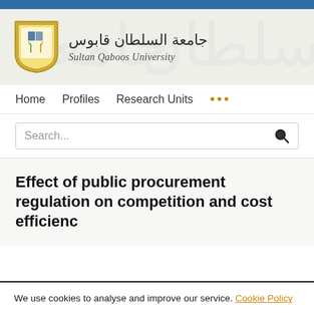[Figure (logo): Sultan Qaboos University logo with shield emblem, Arabic name جامعة السلطان قابوس and English name Sultan Qaboos University]
Home   Profiles   Research Units   ...
Search...
Effect of public procurement regulation on competition and cost efficiency
We use cookies to analyse and improve our service. Cookie Policy